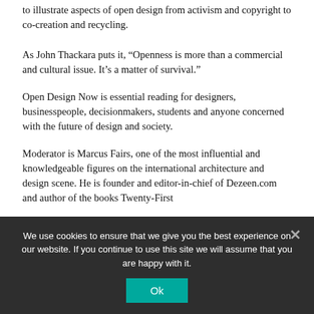to illustrate aspects of open design from activism and copyright to co-creation and recycling.
As John Thackara puts it, “Openness is more than a commercial and cultural issue. It’s a matter of survival.”
Open Design Now is essential reading for designers, businesspeople, decisionmakers, students and anyone concerned with the future of design and society.
Moderator is Marcus Fairs, one of the most influential and knowledgeable figures on the international architecture and design scene. He is founder and editor-in-chief of Dezeen.com and author of the books Twenty-First
We use cookies to ensure that we give you the best experience on our website. If you continue to use this site we will assume that you are happy with it.